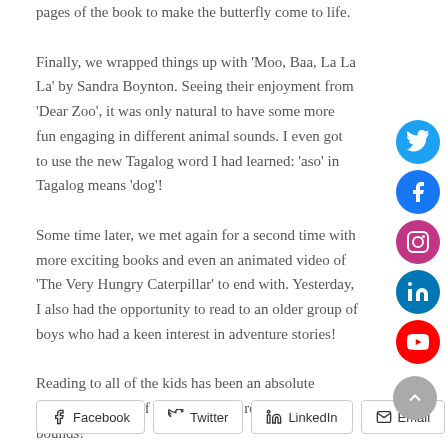pages of the book to make the butterfly come to life. Finally, we wrapped things up with 'Moo, Baa, La La La' by Sandra Boynton. Seeing their enjoyment from 'Dear Zoo', it was only natural to have some more fun engaging in different animal sounds. I even got to use the new Tagalog word I had learned: 'aso' in Tagalog means 'dog'! Some time later, we met again for a second time with more exciting books and even an animated video of 'The Very Hungry Caterpillar' to end with. Yesterday, I also had the opportunity to read to an older group of boys who had a keen interest in adventure stories! Reading to all of the kids has been an absolute pleasure; the act of sharing stories really knows no bounds!
[Figure (infographic): Social media icons on the right side: Twitter (blue), Facebook (blue), Instagram (pink/purple), LinkedIn (teal), YouTube (red)]
Facebook  Twitter  LinkedIn  Email